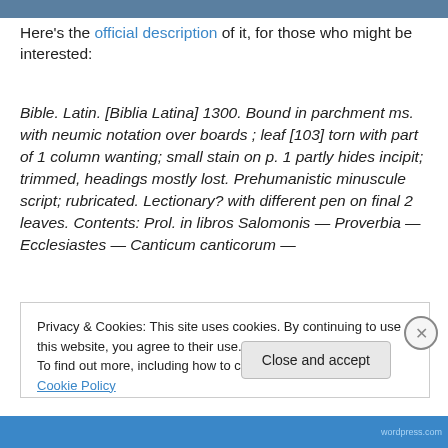[Figure (photo): Top image bar / partial photo strip]
Here's the official description of it, for those who might be interested:
Bible. Latin. [Biblia Latina] 1300. Bound in parchment ms. with neumic notation over boards ; leaf [103] torn with part of 1 column wanting; small stain on p. 1 partly hides incipit; trimmed, headings mostly lost. Prehumanistic minuscule script; rubricated. Lectionary? with different pen on final 2 leaves. Contents: Prol. in libros Salomonis — Proverbia — Ecclesiastes — Canticum canticorum —
Privacy & Cookies: This site uses cookies. By continuing to use this website, you agree to their use.
To find out more, including how to control cookies, see here: Cookie Policy